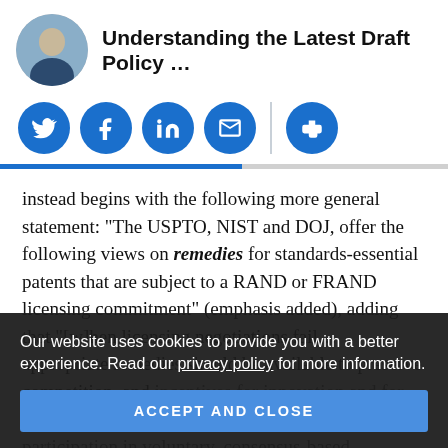Understanding the Latest Draft Policy …
[Figure (other): Social sharing icons: Twitter, Facebook, LinkedIn, Email, Print]
instead begins with the following more general statement: “The USPTO, NIST and DOJ, offer the following views on remedies for standards-essential patents that are subject to a RAND or FRAND licensing commitment” (emphasis added), adding that “[w]hen licensing negotiations fail… appropriate remedies should be available to preserve competition, and incentives for innovation and for continued participation in voluntary, consensus-based, standards-setting activities.” A footnote to the later s… to the agencies in 2019, i.e. hold-out.
Our website uses cookies to provide you with a better experience. Read our privacy policy for more information.
ACCEPT AND CLOSE